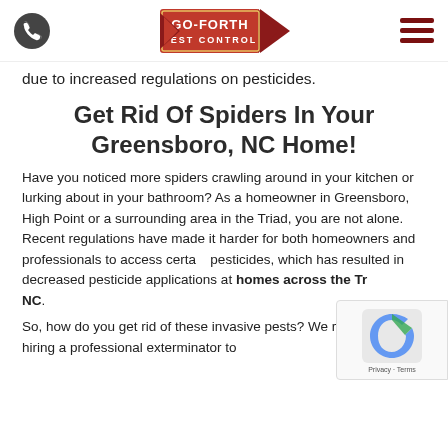Go-Forth Pest Control [logo with phone icon and hamburger menu]
due to increased regulations on pesticides.
Get Rid Of Spiders In Your Greensboro, NC Home!
Have you noticed more spiders crawling around in your kitchen or lurking about in your bathroom? As a homeowner in Greensboro, High Point or a surrounding area in the Triad, you are not alone. Recent regulations have made it harder for both homeowners and professionals to access certain pesticides, which has resulted in decreased pesticide applications at homes across the Triad, NC.
So, how do you get rid of these invasive pests? We recommend hiring a professional exterminator to